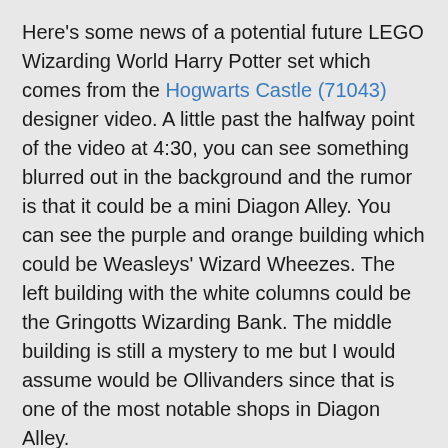Here's some news of a potential future LEGO Wizarding World Harry Potter set which comes from the Hogwarts Castle (71043) designer video. A little past the halfway point of the video at 4:30, you can see something blurred out in the background and the rumor is that it could be a mini Diagon Alley. You can see the purple and orange building which could be Weasleys' Wizard Wheezes. The left building with the white columns could be the Gringotts Wizarding Bank. The middle building is still a mystery to me but I would assume would be Ollivanders since that is one of the most notable shops in Diagon Alley.
Do you guys think that the blurred buildings in the background is Diagon Alley or just something LEGO put there for more detailing for Hogwarts? We do know that LEGO likes to throw in teasers for upcoming sets in their videos and images so there's a slight chance that we could get Diagon Alley.